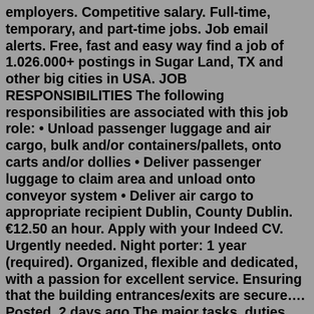employers. Competitive salary. Full-time, temporary, and part-time jobs. Job email alerts. Free, fast and easy way find a job of 1.026.000+ postings in Sugar Land, TX and other big cities in USA. JOB RESPONSIBILITIES The following responsibilities are associated with this job role: • Unload passenger luggage and air cargo, bulk and/or containers/pallets, onto carts and/or dollies • Deliver passenger luggage to claim area and unload onto conveyor system • Deliver air cargo to appropriate recipient Dublin, County Dublin. €12.50 an hour. Apply with your Indeed CV. Urgently needed. Night porter: 1 year (required). Organized, flexible and dedicated, with a passion for excellent service. Ensuring that the building entrances/exits are secure…. Posted. 2 days ago.The major tasks, duties, and responsibilities commonly performed by janitors are highlighted in the job description example below: Clean building floors by sweeping, scrubbing, mopping, waxing, and vacuuming them. Mow lawns, cut grasses, and trim shrubs or trees around the designated environment.